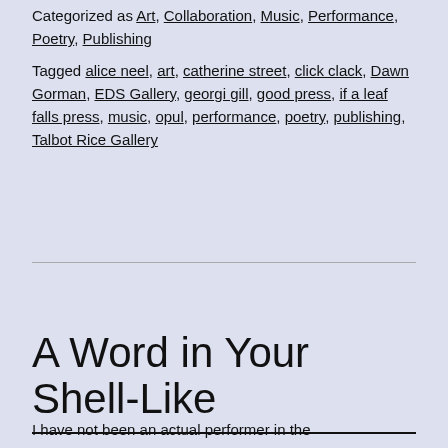Categorized as Art, Collaboration, Music, Performance, Poetry, Publishing
Tagged alice neel, art, catherine street, click clack, Dawn Gorman, EDS Gallery, georgi gill, good press, if a leaf falls press, music, opul, performance, poetry, publishing, Talbot Rice Gallery
A Word in Your Shell-Like
I have not been an actual performer in the